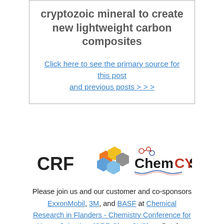cryptozoic mineral to create new lightweight carbon composites
Click here to see the primary source for this post and previous posts > > >
[Figure (logo): CRF and ChemCYS logos side by side]
Please join us and our customer and co-sponsors ExxonMobil, 3M, and BASF at Chemical Research in Flanders - Chemistry Conference for Young Scientists (CRF-ChemCYS) on October